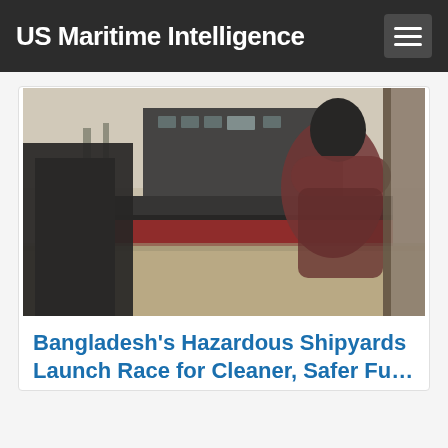US Maritime Intelligence
[Figure (photo): A man in a red shirt viewed from behind stands in a doorway or on a ledge overlooking a large ship being dismantled at a shipyard. The ship's hull is visible with red anti-fouling paint, surrounded by sandy mudflats. Industrial structures are visible in the background under a hazy sky.]
Bangladesh's Hazardous Shipyards Launch Race for Cleaner, Safer Future